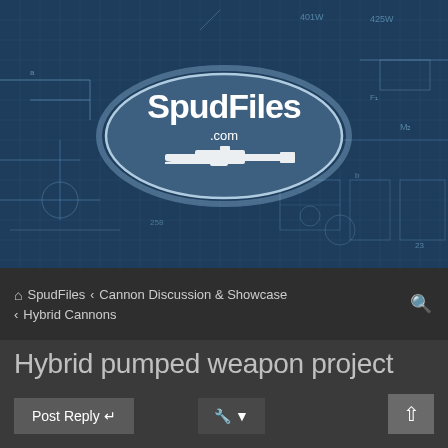[Figure (logo): SpudFiles.com website header banner with a blue oval logo containing the text 'SpudFiles.com' and an image of a spud gun/cannon, set against a dark blue technical blueprint background with engineering schematics.]
SpudFiles › Cannon Discussion & Showcase › Hybrid Cannons
Hybrid pumped weapon project